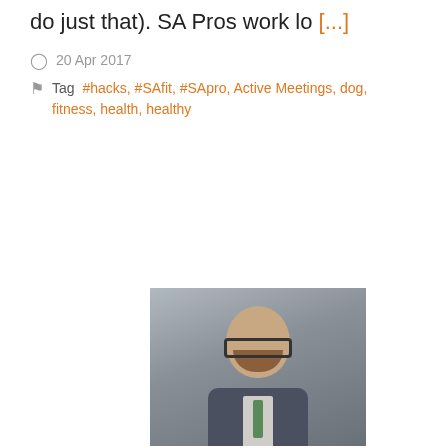do just that). SA Pros work lo [...]
20 Apr 2017
Tag #hacks, #SAfit, #SApro, Active Meetings, dog, fitness, health, healthy
[Figure (photo): Headshot of a man with glasses and a beard, wearing a suit jacket with a light shirt and tie, against a grey background.]